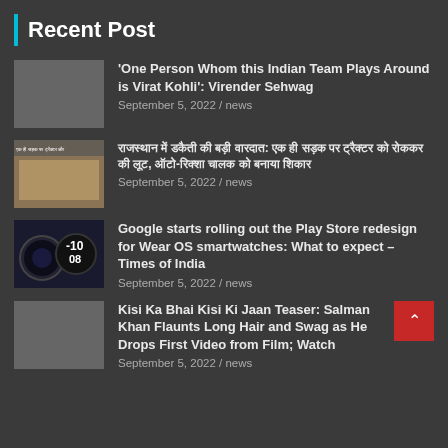Recent Post
'One Person Whom this Indian Team Plays Around is Virat Kohli': Virender Sehwag
September 5, 2022 / news
[Hindi text] September 5, 2022 / news
Google starts rolling out the Play Store redesign for Wear OS smartwatches: What to expect – Times of India
September 5, 2022 / news
Kisi Ka Bhai Kisi Ki Jaan Teaser: Salman Khan Flaunts Long Hair and Swag as He Drops First Video from Film; Watch
September 5, 2022 / news